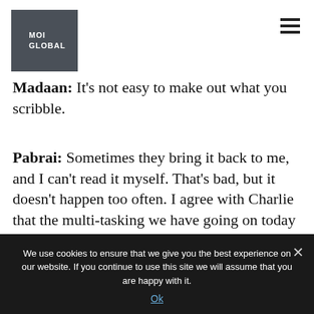MOI GLOBAL
Madaan: It's not easy to make out what you scribble.
Pabrai: Sometimes they bring it back to me, and I can't read it myself. That's bad, but it doesn't happen too often. I agree with Charlie that the multi-tasking we have going on today in society is a net negative. You're trying to do three things.
We use cookies to ensure that we give you the best experience on our website. If you continue to use this site we will assume that you are happy with it. Ok